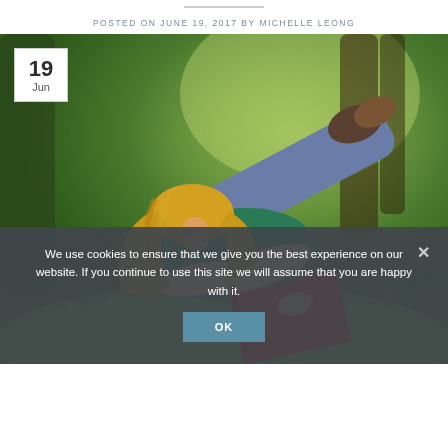POSTED ON JUNE 19, 2017 BY MICHELLE LEONG
[Figure (photo): Woman with long blonde hair lying on green grass in a park, reading a book with a red cover. She is wearing a teal top and sandals. Background shows blurred green trees and sunlight. A date badge overlay shows '19 Jun' in the top left corner.]
We use cookies to ensure that we give you the best experience on our website. If you continue to use this site we will assume that you are happy with it.